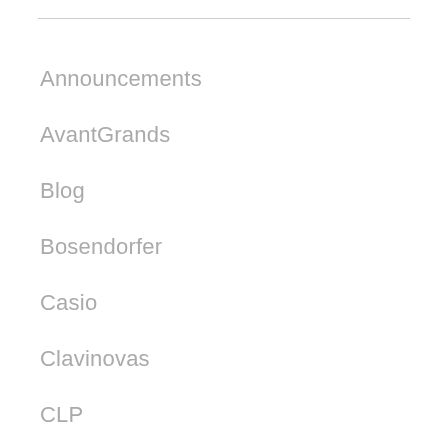Announcements
AvantGrands
Blog
Bosendorfer
Casio
Clavinovas
CLP
Cunningham